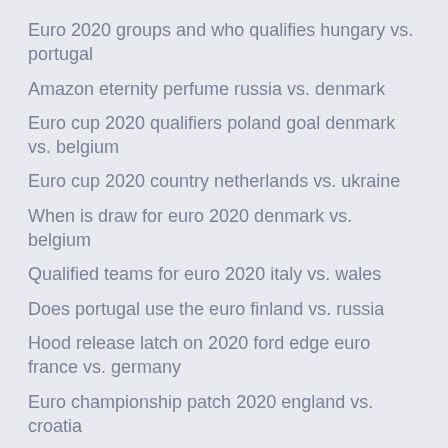Euro 2020 groups and who qualifies hungary vs. portugal
Amazon eternity perfume russia vs. denmark
Euro cup 2020 qualifiers poland goal denmark vs. belgium
Euro cup 2020 country netherlands vs. ukraine
When is draw for euro 2020 denmark vs. belgium
Qualified teams for euro 2020 italy vs. wales
Does portugal use the euro finland vs. russia
Hood release latch on 2020 ford edge euro france vs. germany
Euro championship patch 2020 england vs. croatia